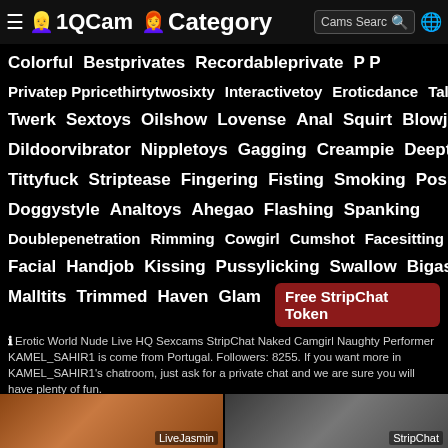1QCam Category — Cams Search
Colorful   Bestprivates   Recordableprivate   P P
Privatep Ppricethirtytwosixty   Interactivetoy   Eroticdance   Talk
Twerk   Sextoys   Oilshow   Lovense   Anal   Squirt   Blowjob
Dildoorvibrator   Nippletoys   Gagging   Creampie   Deepthroat
Tittyfuck   Striptease   Fingering   Fisting   Smoking   Position
Doggystyle   Analtoys   Ahegao   Flashing   Spanking
Doublepenetration   Rimming   Cowgirl   Cumshot   Facesitting
Facial   Handjob   Kissing   Pussylicking   Swallow   Bigass
Malltits   Trimmed   Haven   Glam   Free StripChat Token
Erotic World Nude Live HQ Sexcams StripChat Naked Camgirl Naughty Performer KAMEL_SAHIR1 is come from Portugal. Followers: 8255. If you want more in KAMEL_SAHIR1's chatroom, just ask for a private chat and we are sure you will have plenty of fun.
[Figure (screenshot): Two webcam thumbnails at the bottom — left labeled LiveJasmin, right labeled StripChat]